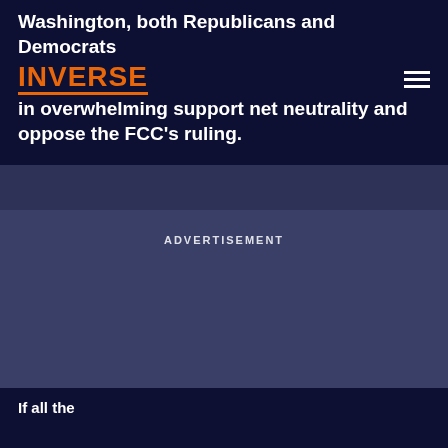Washington, both Republicans and Democrats in overwhelming support net neutrality and oppose the FCC's ruling.
[Figure (logo): Inverse logo in orange bold uppercase text with orange underline, accompanied by hamburger menu icon on the right]
ADVERTISEMENT
If all the content is on the same page it is not visible here.